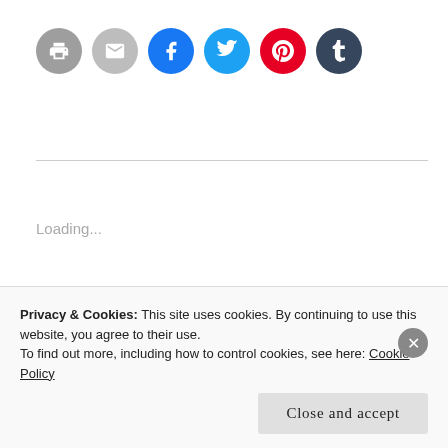[Figure (other): Row of social sharing icon circles: print (gray), email (light gray), Facebook (blue), Twitter (light blue), Pinterest (red), Tumblr (dark navy)]
Loading...
25 October 2019  /  1 Comment
Privacy & Cookies: This site uses cookies. By continuing to use this website, you agree to their use.
To find out more, including how to control cookies, see here: Cookie Policy
Close and accept